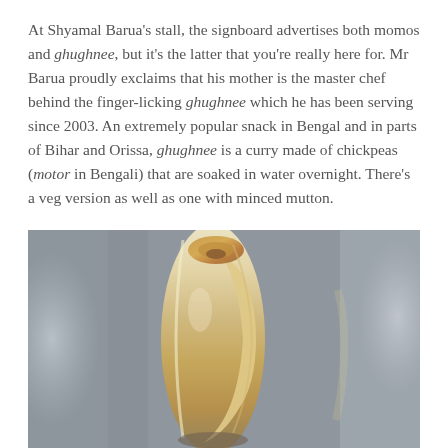At Shyamal Barua's stall, the signboard advertises both momos and ghughnee, but it's the latter that you're really here for. Mr Barua proudly exclaims that his mother is the master chef behind the finger-licking ghughnee which he has been serving since 2003. An extremely popular snack in Bengal and in parts of Bihar and Orissa, ghughnee is a curry made of chickpeas (motor in Bengali) that are soaked in water overnight. There's a veg version as well as one with minced mutton.
[Figure (photo): Close-up photo of a rolled flatbread wrap (kathi roll) held upright, showing filling of chickpea curry inside, on a blurred gray background.]